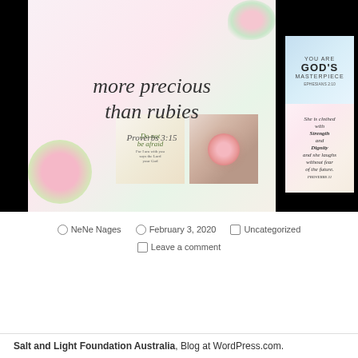[Figure (photo): Blog post image collage showing inspirational Christian quotes with floral designs. Main large image shows 'more precious than rubies Proverbs 3:15'. Top right shows 'You are GOD'S MASTERPIECE'. Bottom row shows 'Do not be afraid' scripture card, pink roses photo, and 'She is clothed with Strength and Dignity and she laughs without fear of the future. Proverbs 31' quote.]
NeNe Nages   February 3, 2020   Uncategorized
Leave a comment
Salt and Light Foundation Australia, Blog at WordPress.com.